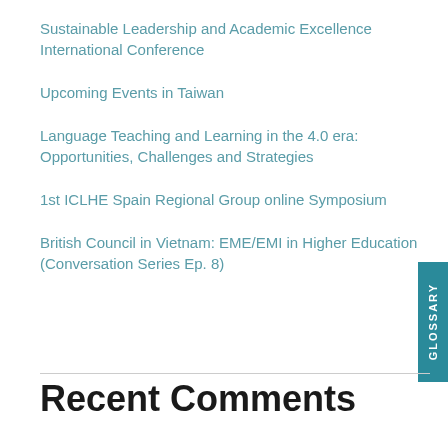Sustainable Leadership and Academic Excellence International Conference
Upcoming Events in Taiwan
Language Teaching and Learning in the 4.0 era: Opportunities, Challenges and Strategies
1st ICLHE Spain Regional Group online Symposium
British Council in Vietnam: EME/EMI in Higher Education (Conversation Series Ep. 8)
Recent Comments